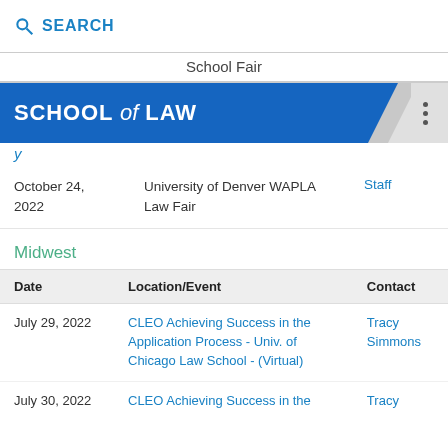SEARCH
School Fair
SCHOOL of LAW
October 24, 2022 | University of Denver WAPLA Law Fair | Staff
Midwest
| Date | Location/Event | Contact |
| --- | --- | --- |
| July 29, 2022 | CLEO Achieving Success in the Application Process - Univ. of Chicago Law School - (Virtual) | Tracy Simmons |
| July 30, 2022 | CLEO Achieving Success in the … | Tracy … |